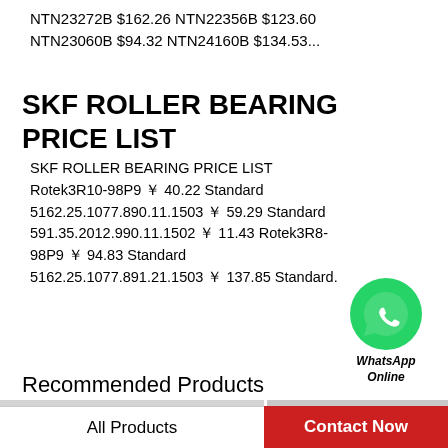NTN23272B $162.26 NTN22356B $123.60 NTN23060B $94.32 NTN24160B $134.53...
SKF ROLLER BEARING PRICE LIST
SKF ROLLER BEARING PRICE LIST Rotek3R10-98P9 ￥ 40.22 Standard 5162.25.1077.890.11.1503 ￥ 59.29 Standard 591.35.2012.990.11.1502 ￥ 11.43 Rotek3R8-98P9 ￥ 94.83 Standard 5162.25.1077.891.21.1503 ￥ 137.85 Standard.
[Figure (logo): WhatsApp green circle logo with phone icon and 'WhatsApp Online' label]
Recommended Products
[Figure (photo): Two roller bearing rings (slewing rings) shown side by side, metallic silver color with bolt holes around the outer and inner edges.]
All Products
Contact Now